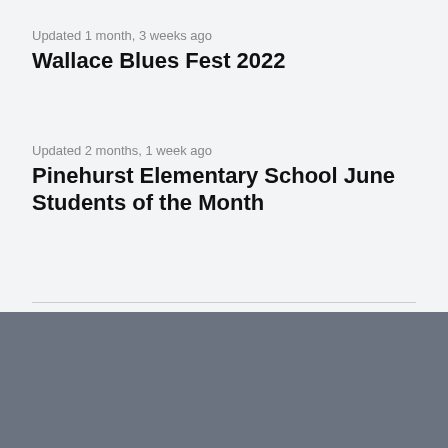Updated 1 month, 3 weeks ago
Wallace Blues Fest 2022
Updated 2 months, 1 week ago
Pinehurst Elementary School June Students of the Month
RECORDS
LEGALS